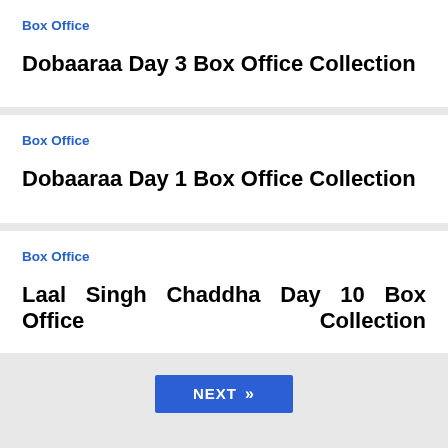Box Office
Dobaaraa Day 3 Box Office Collection
Box Office
Dobaaraa Day 1 Box Office Collection
Box Office
Laal Singh Chaddha Day 10 Box Office Collection
NEXT »